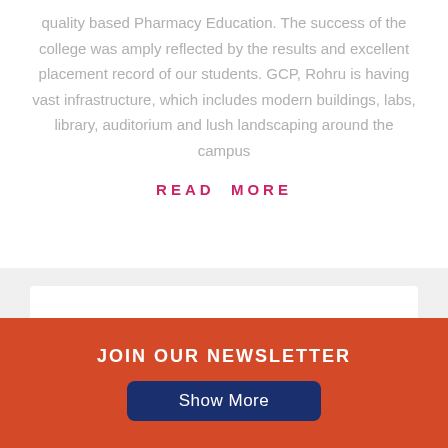quality based Pharmacy Education. The success of the college was amply reflected by the results and excellent placement record of our students. GCP, Rohru is having vast infrastructure, which includes modern buildings, labs, library, auditorium and lush landscaping around the campus
READ MORE
[Figure (photo): A card/image section showing a partial photo with diagonal blue book or folder elements visible at the bottom]
JOIN OUR NEWSLETTER
Show More